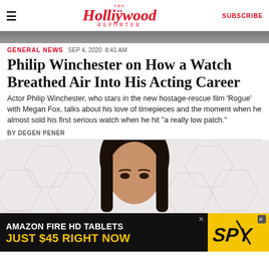The Hollywood Reporter  SUBSCRIBE
[Figure (photo): Top portion of a photo, dark/gray cropped image strip]
GENERAL NEWS  SEP 4, 2020  8:41 AM
Philip Winchester on How a Watch Breathed Air Into His Acting Career
Actor Philip Winchester, who stars in the new hostage-rescue film 'Rogue' with Megan Fox, talks about his love of timepieces and the moment when he almost sold his first serious watch when he hit "a really low patch."
BY DEGEN PENER
[Figure (photo): Photo of a woman with dark hair against a hexagonal pattern background — appears to be Megan Fox]
[Figure (other): Advertisement banner: AMAZON FIRE HD TABLETS JUST $45 RIGHT NOW with SPY logo on yellow background]